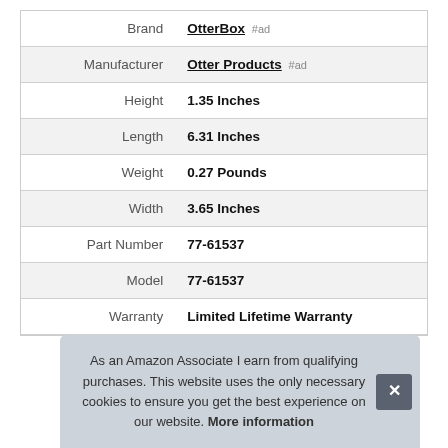| Attribute | Value |
| --- | --- |
| Brand | OtterBox #ad |
| Manufacturer | Otter Products #ad |
| Height | 1.35 Inches |
| Length | 6.31 Inches |
| Weight | 0.27 Pounds |
| Width | 3.65 Inches |
| Part Number | 77-61537 |
| Model | 77-61537 |
| Warranty | Limited Lifetime Warranty |
As an Amazon Associate I earn from qualifying purchases. This website uses the only necessary cookies to ensure you get the best experience on our website. More information